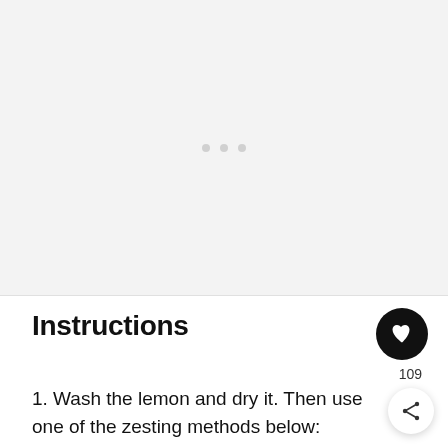[Figure (other): Light gray placeholder image area with three small gray dots in the center, indicating a loading or empty image slot]
Instructions
1. Wash the lemon and dry it. Then use one of the zesting methods below: